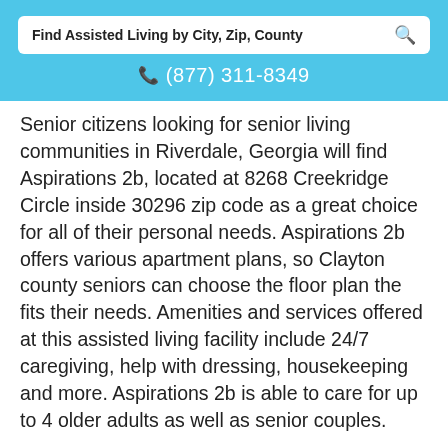Find Assisted Living by City, Zip, County
☎ (877) 311-8349
Senior citizens looking for senior living communities in Riverdale, Georgia will find Aspirations 2b, located at 8268 Creekridge Circle inside 30296 zip code as a great choice for all of their personal needs. Aspirations 2b offers various apartment plans, so Clayton county seniors can choose the floor plan the fits their needs. Amenities and services offered at this assisted living facility include 24/7 caregiving, help with dressing, housekeeping and more. Aspirations 2b is able to care for up to 4 older adults as well as senior couples.
(877) 659-8659